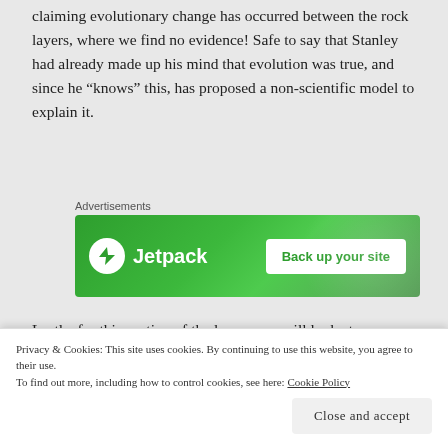claiming evolutionary change has occurred between the rock layers, where we find no evidence! Safe to say that Stanley had already made up his mind that evolution was true, and since he “knows” this, has proposed a non-scientific model to explain it.
[Figure (other): Jetpack advertisement banner with green background showing Jetpack logo and 'Back up your site' button]
Lastly, for this portion of the lesson, we will look at a notorious quote from Dr. Richard Charles Lewentin
claims that are against common sense is key to an
Privacy & Cookies: This site uses cookies. By continuing to use this website, you agree to their use.
To find out more, including how to control cookies, see here: Cookie Policy
Close and accept